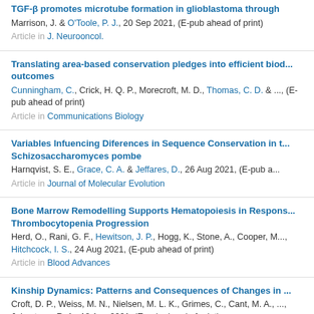TGF-β promotes microtube formation in glioblastoma through
Marrison, J. & O'Toole, P. J., 20 Sep 2021, (E-pub ahead of print)
Article in J. Neurooncol.
Translating area-based conservation pledges into efficient biod... outcomes
Cunningham, C., Crick, H. Q. P., Morecroft, M. D., Thomas, C. D. & ..., (E-pub ahead of print)
Article in Communications Biology
Variables Infuencing Diferences in Sequence Conservation in t... Schizosaccharomyces pombe
Harnqvist, S. E., Grace, C. A. & Jeffares, D., 26 Aug 2021, (E-pub a...
Article in Journal of Molecular Evolution
Bone Marrow Remodelling Supports Hematopoiesis in Respons... Thrombocytopenia Progression
Herd, O., Rani, G. F., Hewitson, J. P., Hogg, K., Stone, A., Cooper, M..., Hitchcock, I. S., 24 Aug 2021, (E-pub ahead of print)
Article in Blood Advances
Kinship Dynamics: Patterns and Consequences of Changes in ...
Croft, D. P., Weiss, M. N., Nielsen, M. L. K., Grimes, C., Cant, M. A., ..., Johnstone, R. A., 18 Aug 2021, (E-pub ahead of print)
Article in Proceedings of the Royal Society B
Genetic variation is associated with differences in facilitative a...